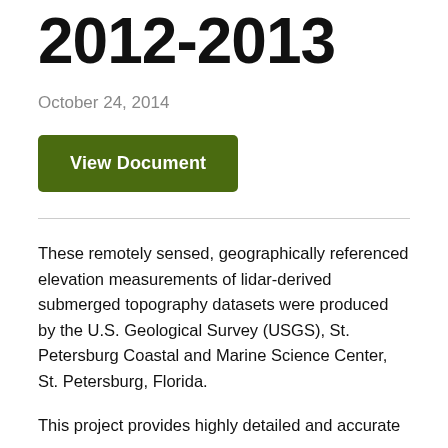2012-2013
October 24, 2014
View Document
These remotely sensed, geographically referenced elevation measurements of lidar-derived submerged topography datasets were produced by the U.S. Geological Survey (USGS), St. Petersburg Coastal and Marine Science Center, St. Petersburg, Florida.
This project provides highly detailed and accurate